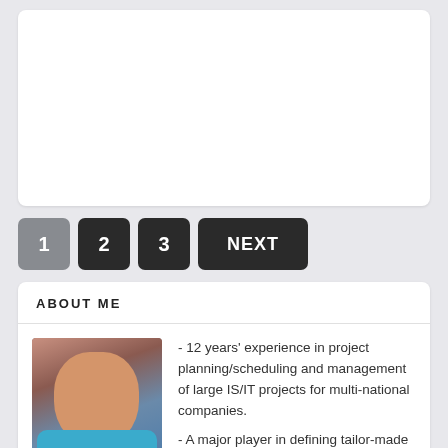[Figure (other): White card/content area at top of page, empty white rounded rectangle]
1
2
3
NEXT
ABOUT ME
[Figure (photo): Profile photo of a smiling middle-aged man wearing a blue/teal shirt]
- 12 years' experience in project planning/scheduling and management of large IS/IT projects for multi-national companies.
- A major player in defining tailor-made methodologies